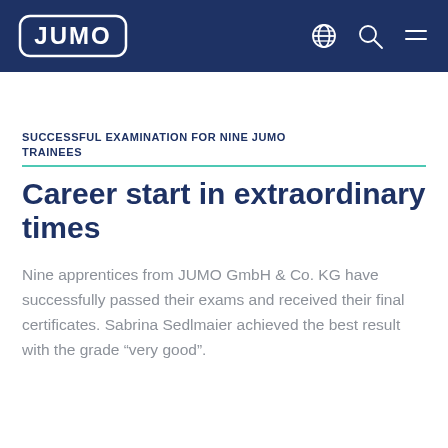JUMO
SUCCESSFUL EXAMINATION FOR NINE JUMO TRAINEES
Career start in extraordinary times
Nine apprentices from JUMO GmbH & Co. KG have successfully passed their exams and received their final certificates. Sabrina Sedlmaier achieved the best result with the grade “very good”.